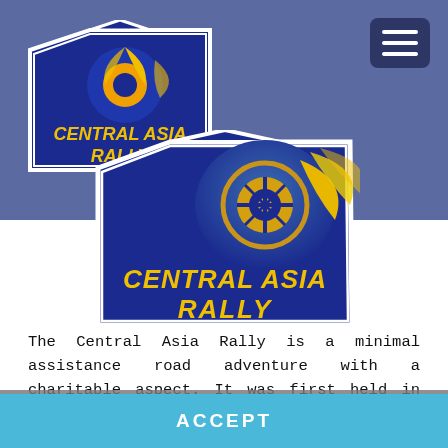[Figure (logo): Central Asia Rally logo (small, top-left, partially clipped) — blue rally plate shape with yellow flame/wheel motif and text 'CENTRAL ASIA RALLY']
[Figure (logo): Central Asia Rally logo (large, center) — blue rally plate shape with golden flame/wheel motif and bold text 'CENTRAL ASIA RALLY']
The Central Asia Rally is a minimal assistance road adventure with a charitable aspect. It was first held in 2012, from Budapest to Dushanbe, Tajikistan. To focus more on the adventurous Silk Road part, the route now passes five countries from Astrakhan all the way to Bishkek, Kyrgyzstan. Be part of the elite club of adventurers who completed this extraordinary
This website uses cookies. To find out more please read our Cookie Policy page.
ACCEPT